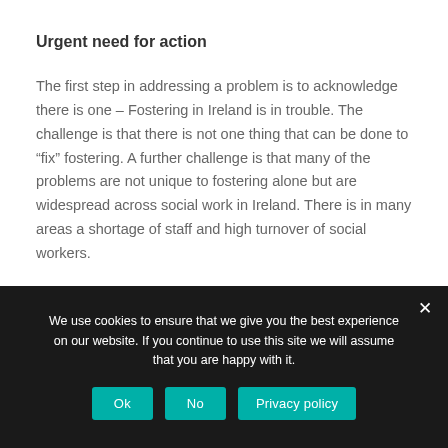Urgent need for action
The first step in addressing a problem is to acknowledge there is one – Fostering in Ireland is in trouble. The challenge is that there is not one thing that can be done to “fix” fostering. A further challenge is that many of the problems are not unique to fostering alone but are widespread across social work in Ireland. There is in many areas a shortage of staff and high turnover of social workers.
We use cookies to ensure that we give you the best experience on our website. If you continue to use this site we will assume that you are happy with it.